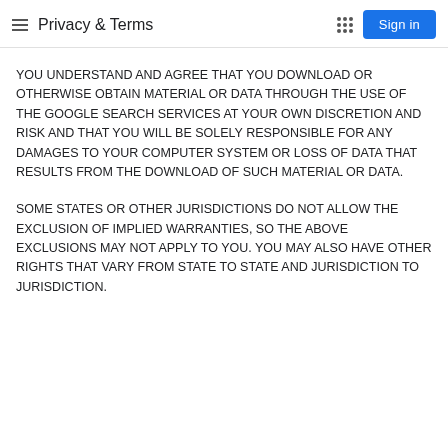Privacy & Terms
YOU UNDERSTAND AND AGREE THAT YOU DOWNLOAD OR OTHERWISE OBTAIN MATERIAL OR DATA THROUGH THE USE OF THE GOOGLE SEARCH SERVICES AT YOUR OWN DISCRETION AND RISK AND THAT YOU WILL BE SOLELY RESPONSIBLE FOR ANY DAMAGES TO YOUR COMPUTER SYSTEM OR LOSS OF DATA THAT RESULTS FROM THE DOWNLOAD OF SUCH MATERIAL OR DATA.
SOME STATES OR OTHER JURISDICTIONS DO NOT ALLOW THE EXCLUSION OF IMPLIED WARRANTIES, SO THE ABOVE EXCLUSIONS MAY NOT APPLY TO YOU. YOU MAY ALSO HAVE OTHER RIGHTS THAT VARY FROM STATE TO STATE AND JURISDICTION TO JURISDICTION.